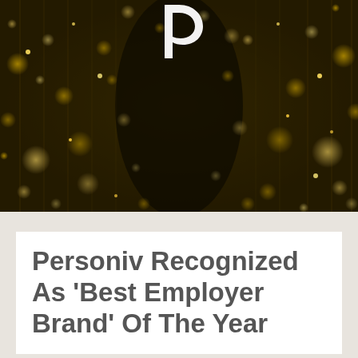[Figure (photo): Dark golden bokeh background with glittering light streaks resembling falling confetti or lights. A white Personiv logo mark (stylized letter p or swirl) is visible near the top center against the dark background.]
Personiv Recognized As ‘Best Employer Brand’ Of The Year